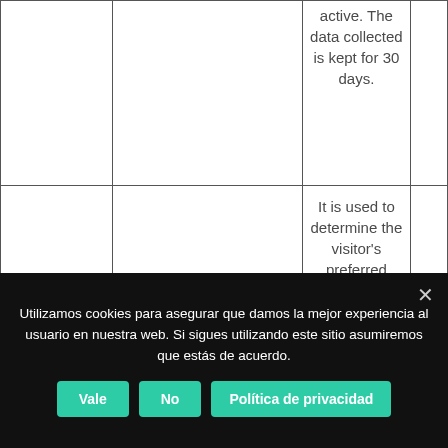|  |  | active. The data collected is kept for 30 days. |  |
|  |  | It is used to determine the visitor's preferred language… | FAR… |
Utilizamos cookies para asegurar que damos la mejor experiencia al usuario en nuestra web. Si sigues utilizando este sitio asumiremos que estás de acuerdo.